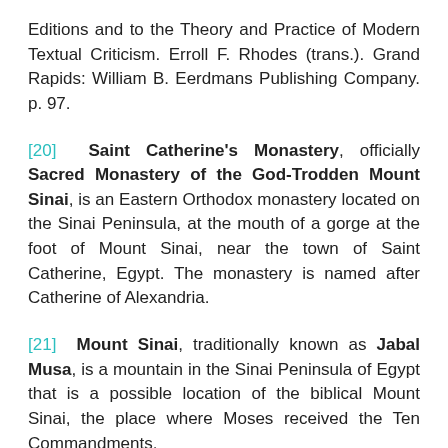Editions and to the Theory and Practice of Modern Textual Criticism. Erroll F. Rhodes (trans.). Grand Rapids: William B. Eerdmans Publishing Company. p. 97.
[20] Saint Catherine's Monastery, officially Sacred Monastery of the God-Trodden Mount Sinai, is an Eastern Orthodox monastery located on the Sinai Peninsula, at the mouth of a gorge at the foot of Mount Sinai, near the town of Saint Catherine, Egypt. The monastery is named after Catherine of Alexandria.
[21] Mount Sinai, traditionally known as Jabal Musa, is a mountain in the Sinai Peninsula of Egypt that is a possible location of the biblical Mount Sinai, the place where Moses received the Ten Commandments.